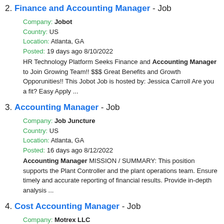2. Finance and Accounting Manager - Job
Company: Jobot
Country: US
Location: Atlanta, GA
Posted: 19 days ago 8/10/2022
HR Technology Platform Seeks Finance and Accounting Manager to Join Growing Team!! $$$ Great Benefits and Growth Opporunities!! This Jobot Job is hosted by: Jessica Carroll Are you a fit? Easy Apply ...
3. Accounting Manager - Job
Company: Job Juncture
Country: US
Location: Atlanta, GA
Posted: 16 days ago 8/12/2022
Accounting Manager MISSION / SUMMARY: This position supports the Plant Controller and the plant operations team. Ensure timely and accurate reporting of financial results. Provide in-depth analysis ...
4. Cost Accounting Manager - Job
Company: Motrex LLC
Country: US
Location: Alpharetta, GA